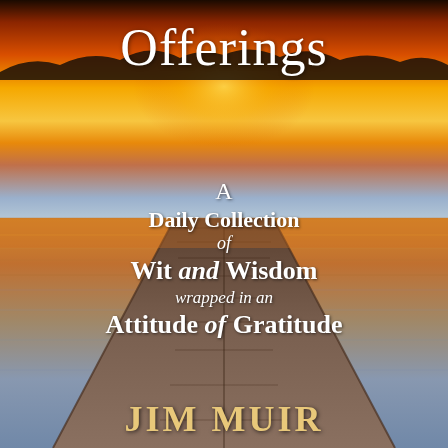[Figure (photo): Book cover showing a wooden dock/pier extending into a calm lake at sunset, with vivid orange and yellow sky reflected in the water, and dark tree silhouettes along the horizon.]
Offerings
A
Daily Collection
of
Wit and Wisdom
wrapped in an
Attitude of Gratitude
JIM MUIR